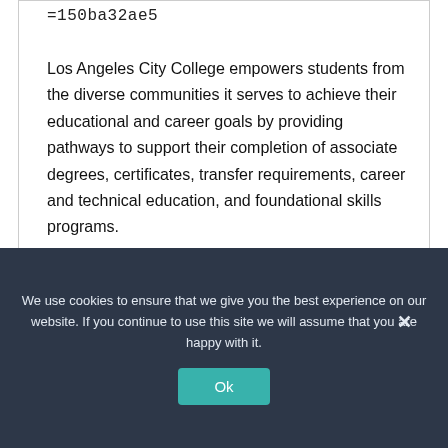=150ba32ae5
Los Angeles City College empowers students from the diverse communities it serves to achieve their educational and career goals by providing pathways to support their completion of associate degrees, certificates, transfer requirements, career and technical education, and foundational skills programs.
We use cookies to ensure that we give you the best experience on our website. If you continue to use this site we will assume that you are happy with it.